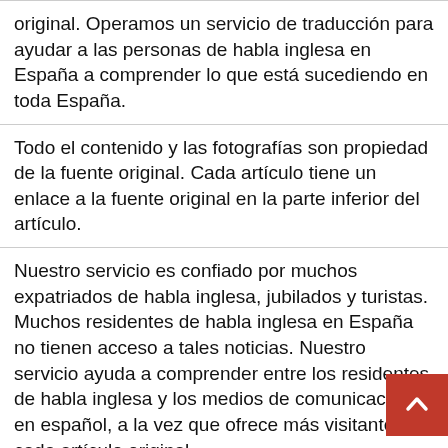original. Operamos un servicio de traducción para ayudar a las personas de habla inglesa en España a comprender lo que está sucediendo en toda España.
Todo el contenido y las fotografías son propiedad de la fuente original. Cada artículo tiene un enlace a la fuente original en la parte inferior del artículo.
Nuestro servicio es confiado por muchos expatriados de habla inglesa, jubilados y turistas. Muchos residentes de habla inglesa en España no tienen acceso a tales noticias. Nuestro servicio ayuda a comprender entre los residentes de habla inglesa y los medios de comunicación en español, a la vez que ofrece más visitantes a cada artículo original.
Si desea que se elimine un artículo, puede contactarnos con la URL y la prueba de los derechos de propiedad para eliminar cualquier artículo de nuestro sistema.